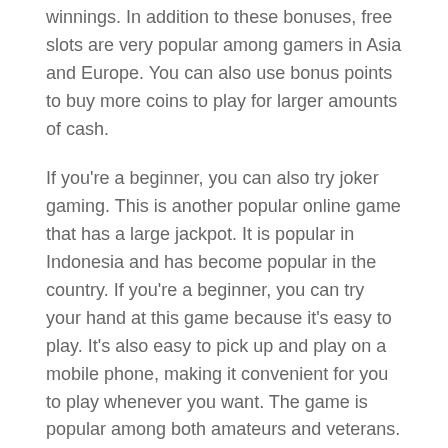winnings. In addition to these bonuses, free slots are very popular among gamers in Asia and Europe. You can also use bonus points to buy more coins to play for larger amounts of cash.
If you're a beginner, you can also try joker gaming. This is another popular online game that has a large jackpot. It is popular in Indonesia and has become popular in the country. If you're a beginner, you can try your hand at this game because it's easy to play. It's also easy to pick up and play on a mobile phone, making it convenient for you to play whenever you want. The game is popular among both amateurs and veterans.
How to Play the Lottery Online
Posted on 31/05/2022 by wcswimming2010